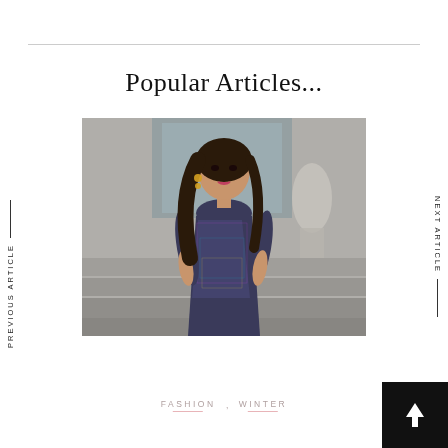PREVIOUS ARTICLE
Popular Articles...
[Figure (photo): A woman with long dark hair wearing a colorful sequined dress, standing in front of stone steps with sculptures in the background.]
FASHION , WINTER
NEXT ARTICLE